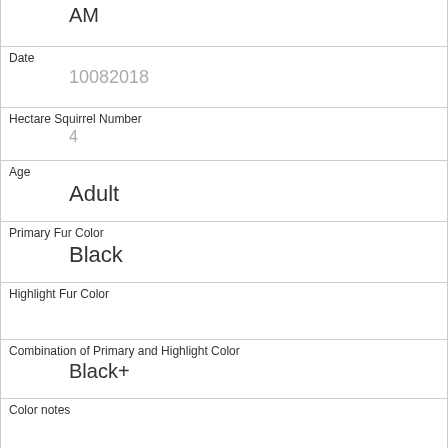| AM |
| Date | 10082018 |
| Hectare Squirrel Number | 4 |
| Age | Adult |
| Primary Fur Color | Black |
| Highlight Fur Color |  |
| Combination of Primary and Highlight Color | Black+ |
| Color notes |  |
| Location | Above Ground |
| Above Ground Sighter Measurement | 50 |
| Specific Location |  |